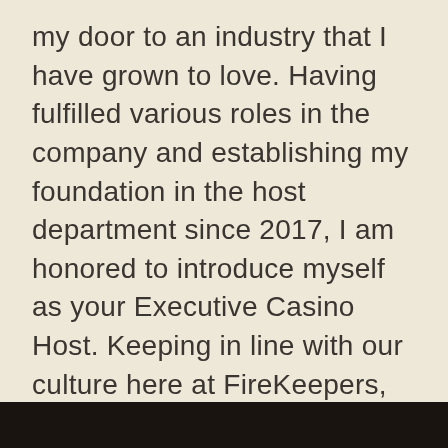my door to an industry that I have grown to love. Having fulfilled various roles in the company and establishing my foundation in the host department since 2017, I am honored to introduce myself as your Executive Casino Host. Keeping in line with our culture here at FireKeepers, my intentions will always focus on providing our guests with the best experience possible.
[Figure (photo): Dark bar/image at the bottom of the page, appears to be the top edge of a dark photograph or banner.]